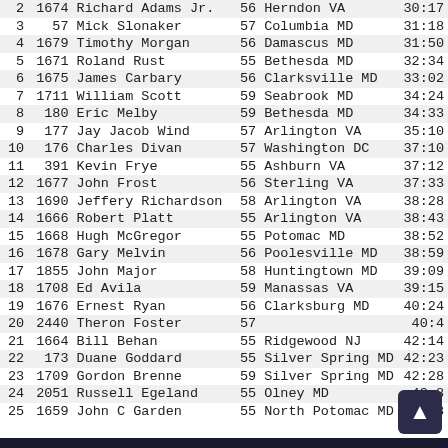| Place | Bib | Name | Age | City State | Time |
| --- | --- | --- | --- | --- | --- |
| 2 | 1674 | Richard Adams Jr. | 56 | Herndon VA | 30:17 |
| 3 | 57 | Mick Slonaker | 57 | Columbia MD | 31:18 |
| 4 | 1679 | Timothy Morgan | 56 | Damascus MD | 31:50 |
| 5 | 1671 | Roland Rust | 55 | Bethesda MD | 32:34 |
| 6 | 1675 | James Carbary | 56 | Clarksville MD | 33:02 |
| 7 | 1711 | William Scott | 59 | Seabrook MD | 34:24 |
| 8 | 180 | Eric Melby | 59 | Bethesda MD | 34:33 |
| 9 | 177 | Jay Jacob Wind | 57 | Arlington VA | 35:10 |
| 10 | 176 | Charles Divan | 57 | Washington DC | 37:10 |
| 11 | 391 | Kevin Frye | 55 | Ashburn VA | 37:12 |
| 12 | 1677 | John Frost | 56 | Sterling VA | 37:33 |
| 13 | 1690 | Jeffery Richardson | 58 | Arlington VA | 38:28 |
| 14 | 1666 | Robert Platt | 55 | Arlington VA | 38:43 |
| 15 | 1668 | Hugh McGregor | 55 | Potomac MD | 38:52 |
| 16 | 1678 | Gary Melvin | 56 | Poolesville MD | 38:59 |
| 17 | 1855 | John Major | 58 | Huntingtown MD | 39:09 |
| 18 | 1708 | Ed Avila | 59 | Manassas VA | 39:15 |
| 19 | 1676 | Ernest Ryan | 56 | Clarksburg MD | 40:24 |
| 20 | 2440 | Theron Foster | 57 |  | 40:4 |
| 21 | 1664 | Bill Behan | 55 | Ridgewood NJ | 42:14 |
| 22 | 173 | Duane Goddard | 55 | Silver Spring MD | 42:23 |
| 23 | 1709 | Gordon Brenne | 59 | Silver Spring MD | 42:28 |
| 24 | 2051 | Russell Egeland | 55 | Olney MD | 43:8 |
| 25 | 1659 | John C Garden | 55 | North Potomac MD | 43:28 |